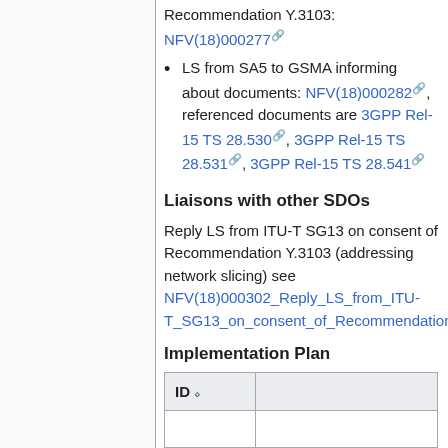Recommendation Y.3103: NFV(18)000277
LS from SA5 to GSMA informing about documents: NFV(18)000282, referenced documents are 3GPP Rel-15 TS 28.530, 3GPP Rel-15 TS 28.531, 3GPP Rel-15 TS 28.541
Liaisons with other SDOs
Reply LS from ITU-T SG13 on consent of Recommendation Y.3103 (addressing network slicing) see NFV(18)000302_Reply_LS_from_ITU-T_SG13_on_consent_of_Recommendation_
Implementation Plan
| ID |
| --- |